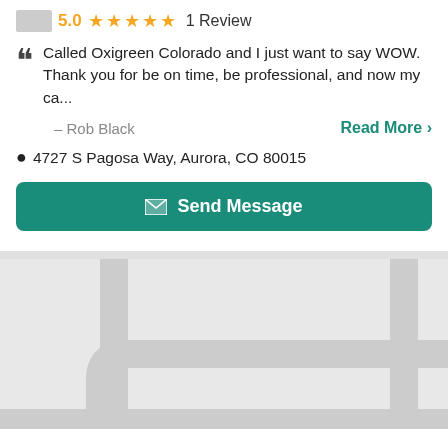5.0 ★★★★★ 1 Review
Called Oxigreen Colorado and I just want to say WOW. Thank you for be on time, be professional, and now my ca...
– Rob Black
Read More >
4727 S Pagosa Way, Aurora, CO 80015
Send Message
[Figure (map): Partial map showing road intersections with light gray road lines on a light gray background]